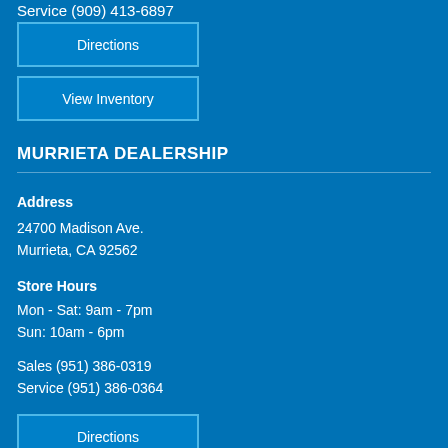Service (909) 413-6897
Directions
View Inventory
MURRIETA DEALERSHIP
Address
24700 Madison Ave.
Murrieta, CA 92562
Store Hours
Mon - Sat: 9am - 7pm
Sun: 10am - 6pm
Sales (951) 386-0319
Service (951) 386-0364
Directions